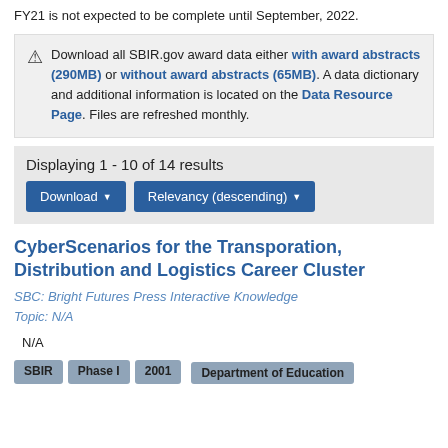FY21 is not expected to be complete until September, 2022.
Download all SBIR.gov award data either with award abstracts (290MB) or without award abstracts (65MB). A data dictionary and additional information is located on the Data Resource Page. Files are refreshed monthly.
Displaying 1 - 10 of 14 results
Download | Relevancy (descending)
CyberScenarios for the Transporation, Distribution and Logistics Career Cluster
SBC: Bright Futures Press Interactive Knowledge
Topic: N/A
N/A
SBIR | Phase I | 2001 | Department of Education